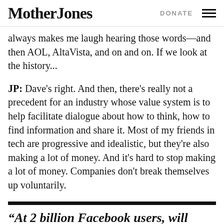Mother Jones  DONATE
always makes me laugh hearing those words—and then AOL, AltaVista, and on and on. If we look at the history...
JP: Dave's right. And then, there's really not a precedent for an industry whose value system is to help facilitate dialogue about how to think, how to find information and share it. Most of my friends in tech are progressive and idealistic, but they're also making a lot of money. And it's hard to stop making a lot of money. Companies don't break themselves up voluntarily.
“At 2 billion Facebook users, will growth